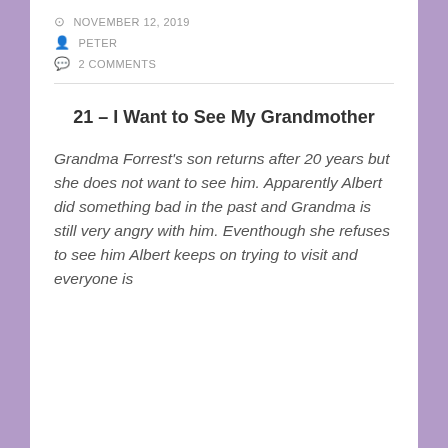NOVEMBER 12, 2019
PETER
2 COMMENTS
21 – I Want to See My Grandmother
Grandma Forrest's son returns after 20 years but she does not want to see him. Apparently Albert did something bad in the past and Grandma is still very angry with him. Eventhough she refuses to see him Albert keeps on trying to visit and everyone is
Privacy & Cookies: This site uses cookies. By continuing to use this website, you agree to their use.
To find out more, including how to control cookies, see here: Cookie Policy
Close and accept